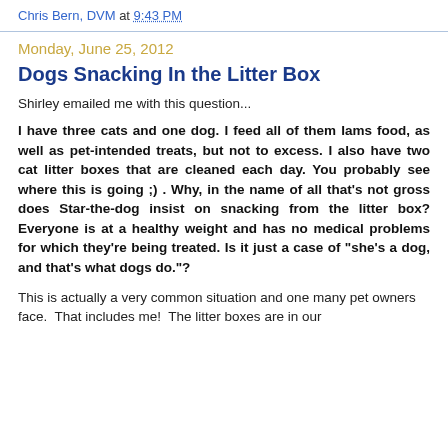Chris Bern, DVM at 9:43 PM
Monday, June 25, 2012
Dogs Snacking In the Litter Box
Shirley emailed me with this question...
I have three cats and one dog. I feed all of them Iams food, as well as pet-intended treats, but not to excess. I also have two cat litter boxes that are cleaned each day. You probably see where this is going ;) . Why, in the name of all that’s not gross does Star-the-dog insist on snacking from the litter box? Everyone is at a healthy weight and has no medical problems for which they’re being treated. Is it just a case of “she’s a dog, and that’s what dogs do.”?
This is actually a very common situation and one many pet owners face.  That includes me!  The litter boxes are in our